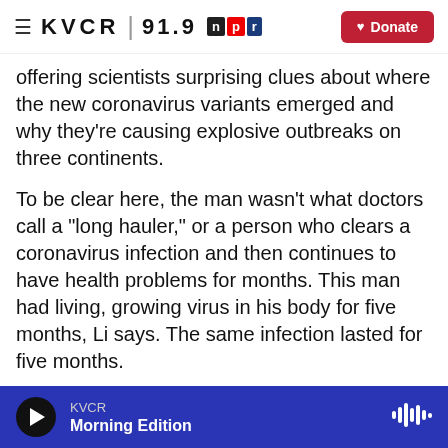≡ KVCR | 91.9 npr [Donate]
offering scientists surprising clues about where the new coronavirus variants emerged and why they're causing explosive outbreaks on three continents.
To be clear here, the man wasn't what doctors call a "long hauler," or a person who clears a coronavirus infection and then continues to have health problems for months. This man had living, growing virus in his body for five months, Li says. The same infection lasted for five months.
"That is one of the remarkable aspects of this case," Li says. "In fact, he was highly infectious over five months after the initial diagnosis."
KVCR Morning Edition